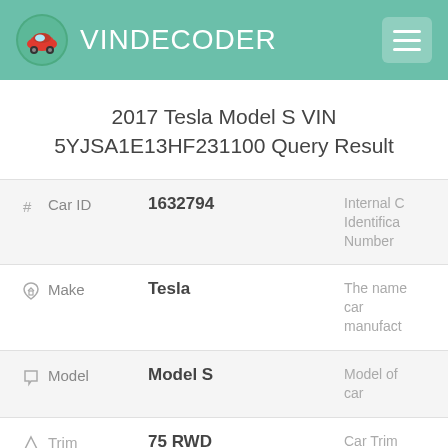VINDECODER
2017 Tesla Model S VIN 5YJSA1E13HF231100 Query Result
| # | Field | Value | Description |
| --- | --- | --- | --- |
| # | Car ID | 1632794 | Internal Car Identification Number |
| home | Make | Tesla | The name of car manufacturer |
| tag | Model | Model S | Model of car |
| triangle | Trim | 75 RWD | Car Trim |